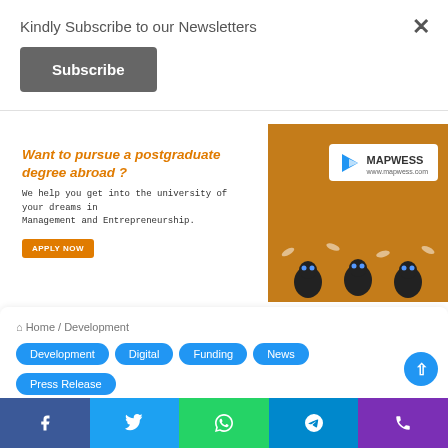Kindly Subscribe to our Newsletters
Subscribe
[Figure (infographic): Mapwess advertisement banner: orange background with cartoon characters, Mapwess logo and URL www.mapwess.com, text 'Want to pursue a postgraduate degree abroad?', 'We help you get into the university of your dreams in Management and Entrepreneurship.', 'APPLY NOW' button.]
Home / Development
Development
Digital
Funding
News
Press Release
Bank Of Alexandria Secures